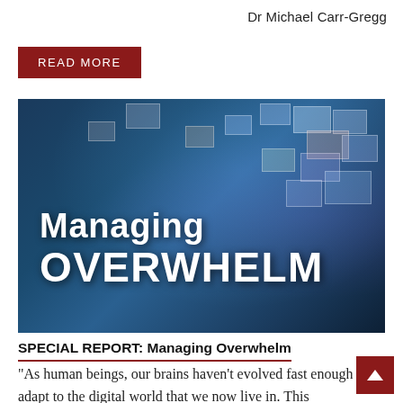Dr Michael Carr-Gregg
READ MORE
[Figure (illustration): Digital information overload image showing a hand using a tablet with many media thumbnails floating above it, overlaid with bold white text reading 'Managing OVERWHELM']
SPECIAL REPORT: Managing Overwhelm
“As human beings, our brains haven’t evolved fast enough to adapt to the digital world that we now live in. This